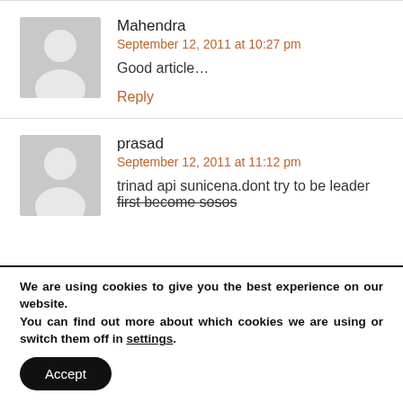Mahendra
September 12, 2011 at 10:27 pm
Good article…
Reply
prasad
September 12, 2011 at 11:12 pm
trinad api sunicena.dont try to be leader first become sosos
We are using cookies to give you the best experience on our website.
You can find out more about which cookies we are using or switch them off in settings.
Accept